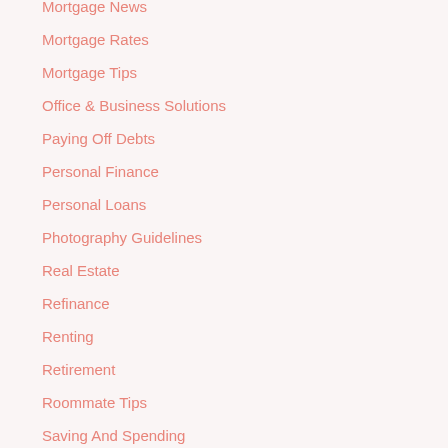Mortgage News
Mortgage Rates
Mortgage Tips
Office & Business Solutions
Paying Off Debts
Personal Finance
Personal Loans
Photography Guidelines
Real Estate
Refinance
Renting
Retirement
Roommate Tips
Saving And Spending
Selling A Ho...